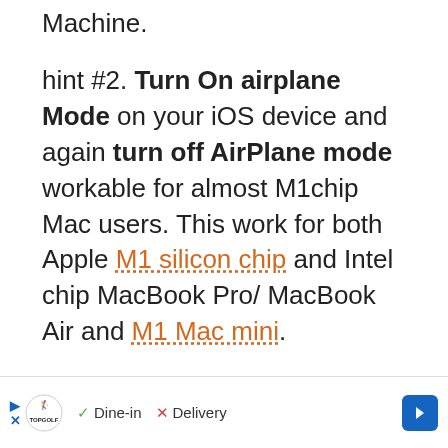Machine.
hint #2. Turn On airplane Mode on your iOS device and again turn off AirPlane mode workable for almost M1chip Mac users. This work for both Apple M1 silicon chip and Intel chip MacBook Pro/ MacBook Air and M1 Mac mini.
1. Make Sure Your iOS Device Trusts Your Mac
If you don't connect your iPhone to your Mac regul...
[Figure (other): Advertisement bar for Topgolf showing Dine-in and Delivery options with a navigation arrow icon]